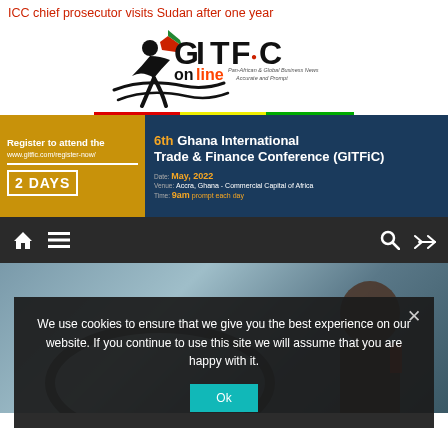ICC chief prosecutor visits Sudan after one year
[Figure (logo): GITFiC online logo - Pan-African & Global Business News, Accurate and Prompt]
[Figure (infographic): Banner ad: Register to attend the 6th Ghana International Trade & Finance Conference (GITFiC). 2 DAYS. www.gitfic.com/register-now. Date: May, 2022. Venue: Accra, Ghana - Commercial Capital of Africa. Time: 9am prompt each day.]
[Figure (screenshot): Website navigation bar with home icon, menu icon, search icon, and random/shuffle icon on dark background]
We use cookies to ensure that we give you the best experience on our website. If you continue to use this site we will assume that you are happy with it.
[Figure (photo): Article photo showing a person, partially obscured by cookie consent overlay]